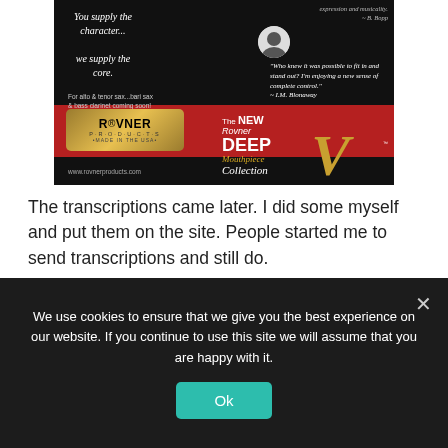[Figure (photo): Rovner Products advertisement showing saxophone ligature and Rovner Deep V Mouthpiece Collection. Features quotes from B. Bopp and I.M. Blonaway, gold Rovner Products badge, red banner with New Rovner DEEP V Mouthpiece Collection text, and website www.rovnerproducts.com]
The transcriptions came later. I did some myself and put them on the site. People started me to send transcriptions and still do.
DO: Were you able to learn anything about how Michael Brecker achieved the level of mastery that he did?
We use cookies to ensure that we give you the best experience on our website. If you continue to use this site we will assume that you are happy with it.